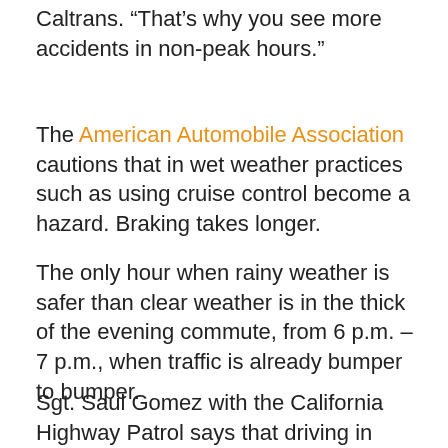Caltrans. “That’s why you see more accidents in non-peak hours.”
The American Automobile Association cautions that in wet weather practices such as using cruise control become a hazard. Braking takes longer.
The only hour when rainy weather is safer than clear weather is in the thick of the evening commute, from 6 p.m. – 7 p.m., when traffic is already bumper to bumper.
Sgt. Saul Gomez with the California Highway Patrol says that driving in heavy traffic in the rain tends to focus the mind.
“Anecdotally, it seems people pay more attention during rush hour when it rains,” he